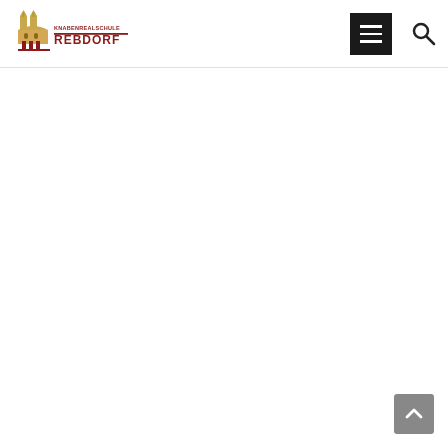[Figure (logo): Knabenrealschule Rebdorf school logo with golden church/building illustration and red text 'KNABENREALSCHULE REBDORF' with a red horizontal line accent]
[Figure (other): Hamburger menu button — black rectangle with three white horizontal lines]
[Figure (other): Search icon — magnifying glass outline in dark color]
[Figure (other): Scroll-to-top button — gray rounded square with white upward chevron arrow]